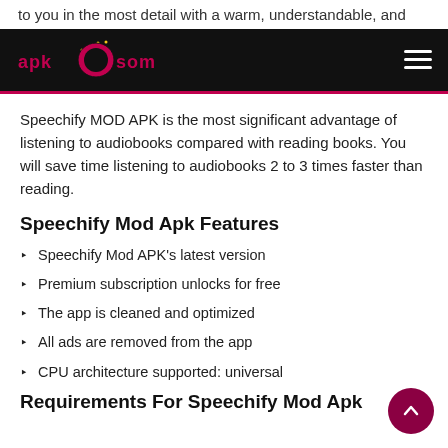to you in the most detail with a warm, understandable, and
[Figure (logo): APK50M logo on black navigation bar with hamburger menu icon]
Speechify MOD APK is the most significant advantage of listening to audiobooks compared with reading books. You will save time listening to audiobooks 2 to 3 times faster than reading.
Speechify Mod Apk Features
Speechify Mod APK's latest version
Premium subscription unlocks for free
The app is cleaned and optimized
All ads are removed from the app
CPU architecture supported: universal
Requirements For Speechify Mod Apk